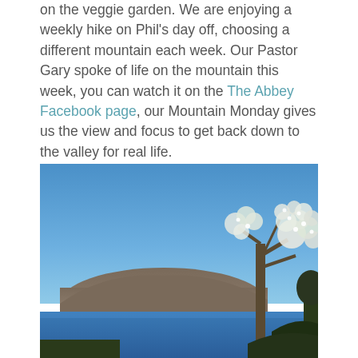on the veggie garden. We are enjoying a weekly hike on Phil's day off, choosing a different mountain each week. Our Pastor Gary spoke of life on the mountain this week, you can watch it on the The Abbey Facebook page, our Mountain Monday gives us the view and focus to get back down to the valley for real life.
[Figure (photo): A landscape photograph showing a bright blue sky, a large rounded hill/mountain in the background, a calm blue lake or water body in the middle ground, and a flowering tree with white blossoms on the right side of the frame.]